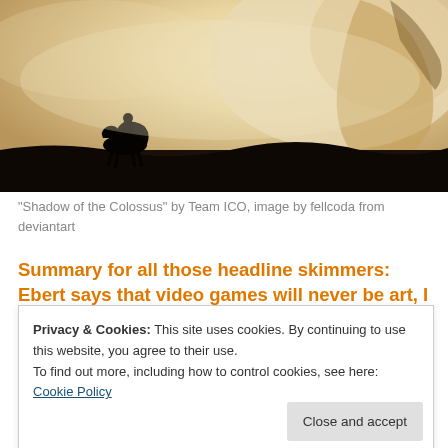[Figure (photo): Sepia-toned image of a silhouetted rider on horseback against a large looming creature and cloudy sky, from Shadow of the Colossus fan art]
"Shadow of the Colossus" by Team ICO, image by fellcoda from deviantart
Summary for all those headline skimmers: Ebert says that video games will never be art, I highly disagree and analyze and break down his argument.  Ebert seems to have confused the act of playing games with
Privacy & Cookies: This site uses cookies. By continuing to use this website, you agree to their use.
To find out more, including how to control cookies, see here: Cookie Policy
article boldly re-stating his belief that  Video Games can